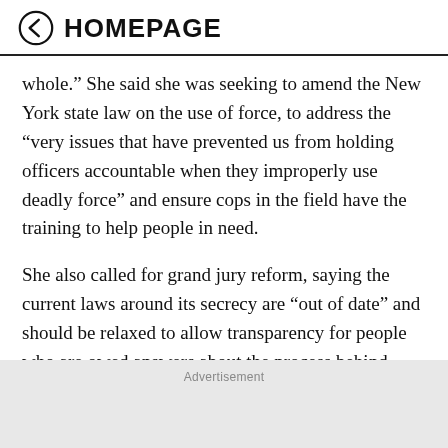HOMEPAGE
whole.” She said she was seeking to amend the New York state law on the use of force, to address the “very issues that have prevented us from holding officers accountable when they improperly use deadly force” and ensure cops in the field have the training to help people in need.
She also called for grand jury reform, saying the current laws around its secrecy are “out of date” and should be relaxed to allow transparency for people who are owed answers about the process behind some criminal outcomes.
Advertisement